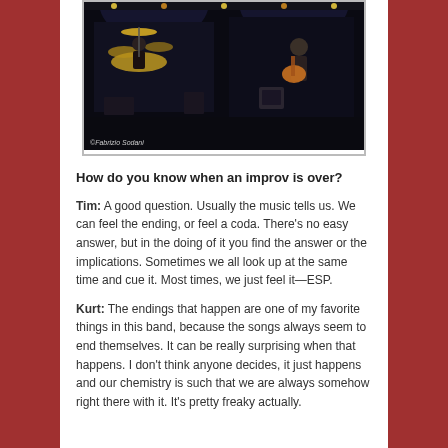[Figure (photo): Concert photo showing musicians performing on stage — a drummer on the left and a guitarist on the right. Photo credit: © Fabrizio Sodani]
©Fabrizio Sodani
How do you know when an improv is over?
Tim: A good question. Usually the music tells us. We can feel the ending, or feel a coda. There's no easy answer, but in the doing of it you find the answer or the implications. Sometimes we all look up at the same time and cue it. Most times, we just feel it—ESP.
Kurt: The endings that happen are one of my favorite things in this band, because the songs always seem to end themselves. It can be really surprising when that happens. I don't think anyone decides, it just happens and our chemistry is such that we are always somehow right there with it. It's pretty freaky actually.